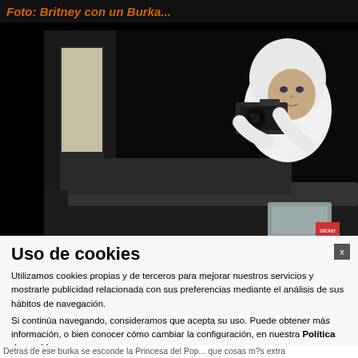Foto: Britney con un Burka...
[Figure (photo): Paparazzi photographer in white hoodie holding camera, photographing from behind a dark vehicle at night]
Uso de cookies
Utilizamos cookies propias y de terceros para mejorar nuestros servicios y mostrarle publicidad relacionada con sus preferencias mediante el análisis de sus hábitos de navegación.
Si continúa navegando, consideramos que acepta su uso. Puede obtener más información, o bien conocer cómo cambiar la configuración, en nuestra Política de cookies
Detras de ese burka se esconde la Princesa del Pop... que cosas m?s extra